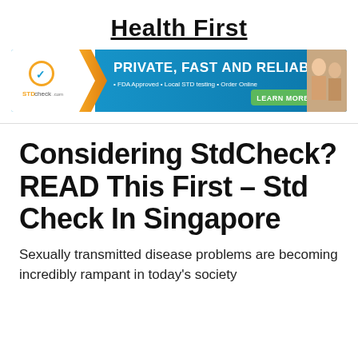Health First
[Figure (infographic): STDcheck.com advertisement banner: orange and blue background with text 'PRIVATE, FAST AND RELIABLE', subtext '• FDA Approved • Local STD testing • Order Online', green 'LEARN MORE' button, STDcheck.com logo on left, photo of smiling couple on right.]
Considering StdCheck? READ This First – Std Check In Singapore
Sexually transmitted disease problems are becoming incredibly rampant in today's society